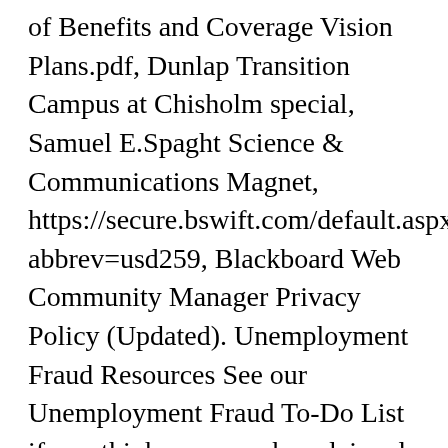of Benefits and Coverage Vision Plans.pdf, Dunlap Transition Campus at Chisholm special, Samuel E.Spaght Science & Communications Magnet, https://secure.bswift.com/default.aspx?abbrev=usd259, Blackboard Web Community Manager Privacy Policy (Updated). Unemployment Fraud Resources See our Unemployment Fraud To-Do List if you think someone has claimed unemployment in your name. please copy and paste the HTML from below into your page: CURRENCY â¤¦ In order to keep the best educators, UTW negotiates with the USD 259 Board of Education for competitive salaries, benefits, and working conditions. Find information about retirement